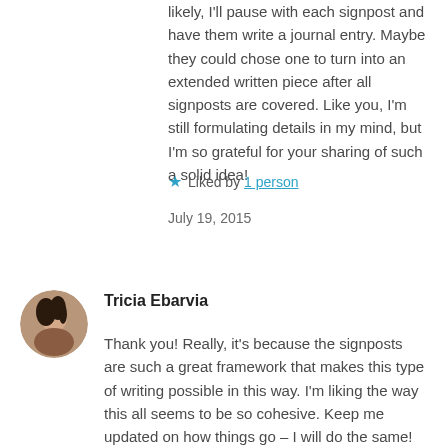likely, I'll pause with each signpost and have them write a journal entry. Maybe they could chose one to turn into an extended written piece after all signposts are covered. Like you, I'm still formulating details in my mind, but I'm so grateful for your sharing of such a solid idea!
★ Liked by 1 person
July 19, 2015
Tricia Ebarvia
Thank you! Really, it's because the signposts are such a great framework that makes this type of writing possible in this way. I'm liking the way this all seems to be so cohesive. Keep me updated on how things go – I will do the same!